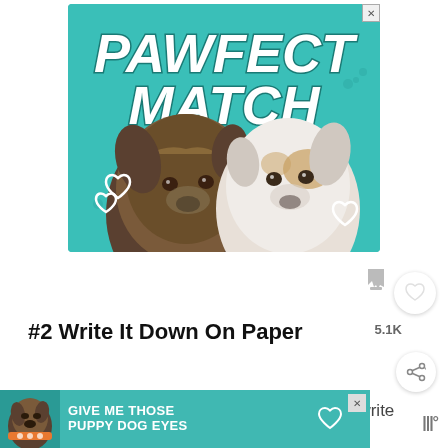[Figure (advertisement): Teal advertisement banner reading PAWFECT MATCH with two dog heads (a brindle dog and a white dog) and white heart outlines on a teal background with paw print pattern. An X close button is in the top right corner.]
5.1K
#2 Write It Down On Paper
Write it down. A study shows that when you write
[Figure (advertisement): Bottom banner advertisement on teal background with a dog photo on left and text reading GIVE ME THOSE PUPPY DOG EYES with a heart icon and an X close button.]